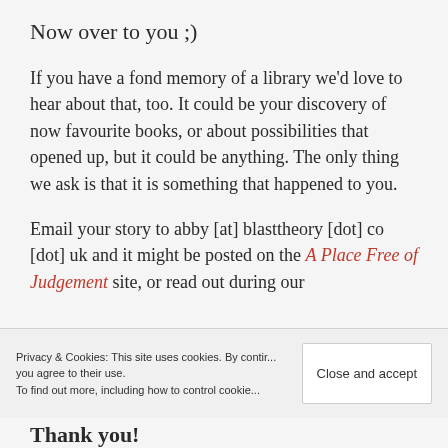Now over to you ;)
If you have a fond memory of a library we’d love to hear about that, too. It could be your discovery of now favourite books, or about possibilities that opened up, but it could be anything. The only thing we ask is that it is something that happened to you.
Email your story to abby [at] blasttheory [dot] co [dot] uk and it might be posted on the A Place Free of Judgement site, or read out during our
Privacy & Cookies: This site uses cookies. By continuing to use this website, you agree to their use. To find out more, including how to control cookies, see here:
Close and accept
Thank you!